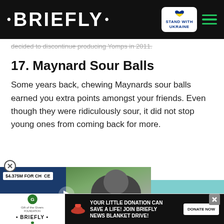• BRIEFLY •
decided to discontinue producing Yomps in 2011.
17. Maynard Sour Balls
Some years back, chewing Maynards sour balls earned you extra points amongst your friends. Even though they were ridiculously sour, it did not stop young ones from coming back for more.
[Figure (screenshot): Video overlay showing a golfer with '$4.375M FOR CH CE' price tag and caption 'We are here to st... says South Afro... after LIV Golf victory' with play button, and a Briefly news article thumbnail. Below is a red down-arrow button.]
[Figure (screenshot): Bottom advertisement banner: Gift of the Givers Foundation logo on left, Briefly logo, and on right dark background with text 'YOUR LITTLE DONATION CAN SAVE A LIFE! JOIN BRIEFLY NEWS BLANKET DRIVE!' with DONATE NOW button.]